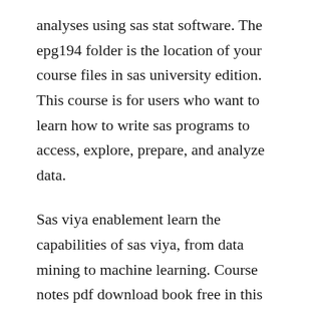analyses using sas stat software. The epg194 folder is the location of your course files in sas university edition. This course is for users who want to learn how to write sas programs to access, explore, prepare, and analyze data.
Sas viya enablement learn the capabilities of sas viya, from data mining to machine learning. Course notes pdf download book free in this website. Find and download your desired teaching materials from the sas academic. Check out the course webpage for statistical packages for an extensive list of